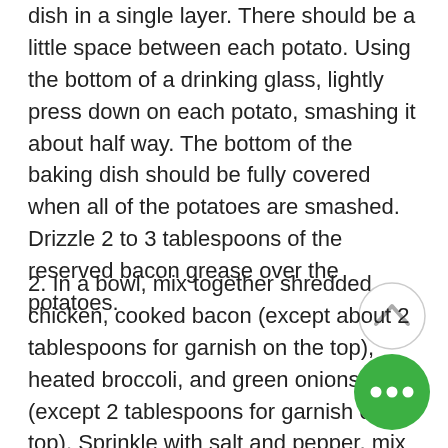dish in a single layer. There should be a little space between each potato. Using the bottom of a drinking glass, lightly press down on each potato, smashing it about half way. The bottom of the baking dish should be fully covered when all of the potatoes are smashed. Drizzle 2 to 3 tablespoons of the reserved bacon grease over the potatoes.
2. In a bowl, mix together shredded chicken, cooked bacon (except about 2 tablespoons for garnish on the top), heated broccoli, and green onions (except 2 tablespoons for garnish on top). Sprinkle with salt and pepper, mix well. Put this mixture on top of potatoes and spread evenly.